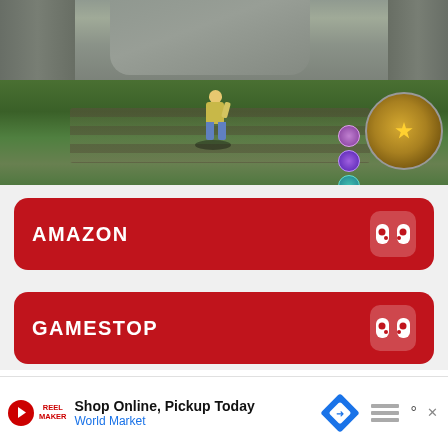[Figure (screenshot): Gameplay screenshot from The Legend of Zelda: Breath of the Wild showing Link walking through a grassy field toward stone ruins/steps, with a minimap and health icons in the corner]
AMAZON
GAMESTOP
(partially visible third store button)
Shop Online, Pickup Today
World Market